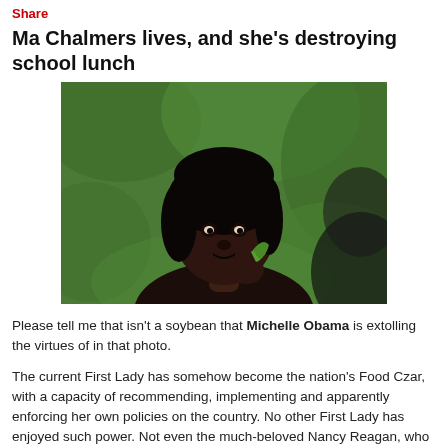Share
Ma Chalmers lives, and she's destroying school lunch
[Figure (photo): Photo of Michelle Obama holding what appears to be a green vegetable or soybean, with a blurred green background.]
Please tell me that isn't a soybean that Michelle Obama is extolling the virtues of in that photo.
The current First Lady has somehow become the nation's Food Czar, with a capacity of recommending, implementing and apparently enforcing her own policies on the country. No other First Lady has enjoyed such power. Not even the much-beloved Nancy Reagan, who channeled the massive respect given her toward no more a gesture than encouraging America's children to steer clear of drug abuse, was granted such authority to wield.
Michelle Obama, however, is hellbent on imposing her own whacked nutritional vision upon the children of those who "just...